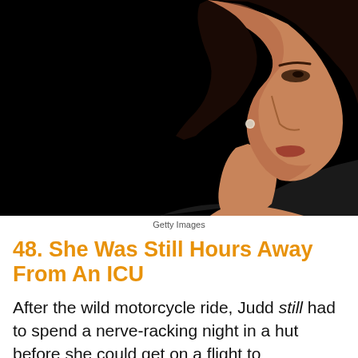[Figure (photo): Close-up profile photo of a woman with dark hair wearing a diamond earring, photographed against a black background]
Getty Images
48. She Was Still Hours Away From An ICU
After the wild motorcycle ride, Judd still had to spend a nerve-racking night in a hut before she could get on a flight to